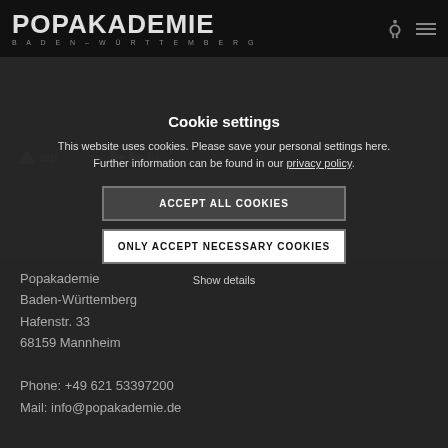POPAKADEMIE BADEN-WÜRTTEMBERG
Cookie settings
This website uses cookies. Please save your personal settings here. Further information can be found in our privacy policy.
ACCEPT ALL COOKIES
ONLY ACCEPT NECESSARY COOKIES
Show details
Popakademie
Baden-Württemberg
Hafenstr. 33
68159 Mannheim

Phone: +49 621 53397200
Mail: info@popakademie.de